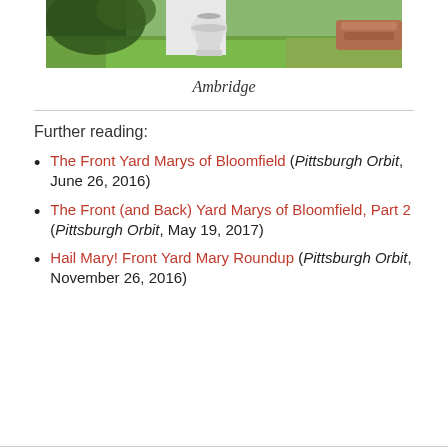[Figure (photo): Top portion of an outdoor photo showing a white garden urn/vase on grass with stone border, garden background]
Ambridge
Further reading:
The Front Yard Marys of Bloomfield (Pittsburgh Orbit, June 26, 2016)
The Front (and Back) Yard Marys of Bloomfield, Part 2 (Pittsburgh Orbit, May 19, 2017)
Hail Mary! Front Yard Mary Roundup (Pittsburgh Orbit, November 26, 2016)